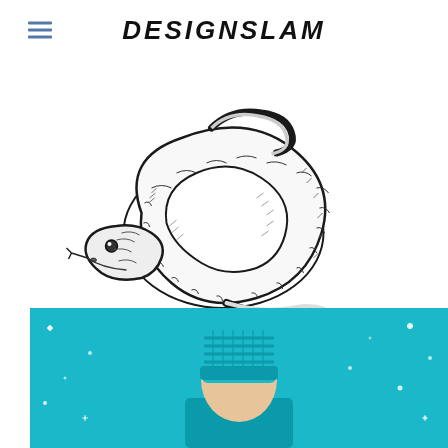DESIGNSLAM
[Figure (illustration): Black and white detailed ink illustration of a coiled snake with its head facing left, rendered in cross-hatching style]
[Figure (illustration): Colorful illustration showing a person wearing a blue knit hat underwater or in a night sky scene with teal/cyan background and star-like dots]